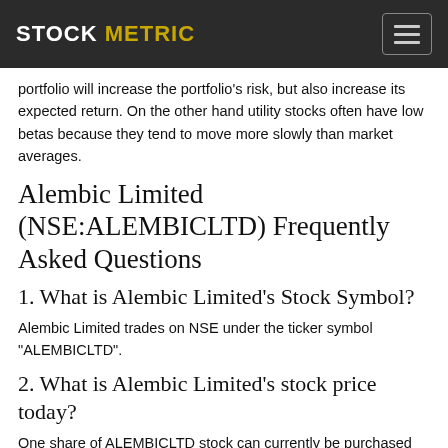STOCK METRIC
portfolio will increase the portfolio's risk, but also increase its expected return. On the other hand utility stocks often have low betas because they tend to move more slowly than market averages.
Alembic Limited (NSE:ALEMBICLTD) Frequently Asked Questions
1. What is Alembic Limited's Stock Symbol?
Alembic Limited trades on NSE under the ticker symbol "ALEMBICLTD".
2. What is Alembic Limited's stock price today?
One share of ALEMBICLTD stock can currently be purchased for approximately ₹73.